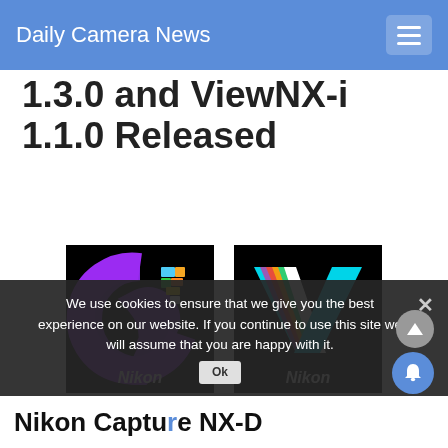Daily Camera News
1.3.0 and ViewNX-i 1.1.0 Released
[Figure (logo): Nikon Capture NX-D app icon on black background with colorful C logo and Nikon branding]
[Figure (logo): Nikon ViewNX-i app icon on black background with colorful V logo and Nikon branding]
We use cookies to ensure that we give you the best experience on our website. If you continue to use this site we will assume that you are happy with it.
Nikon Capture NX-D